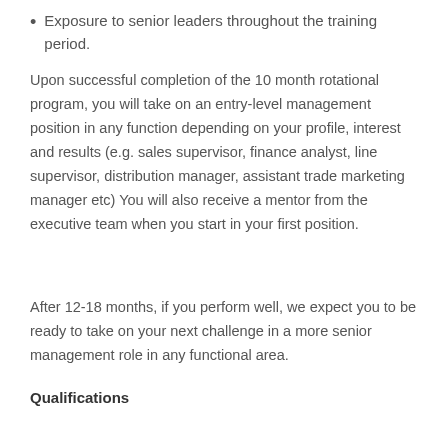Exposure to senior leaders throughout the training period.
Upon successful completion of the 10 month rotational program, you will take on an entry-level management position in any function depending on your profile, interest and results (e.g. sales supervisor, finance analyst, line supervisor, distribution manager, assistant trade marketing manager etc) You will also receive a mentor from the executive team when you start in your first position.
After 12-18 months, if you perform well, we expect you to be ready to take on your next challenge in a more senior management role in any functional area.
Qualifications